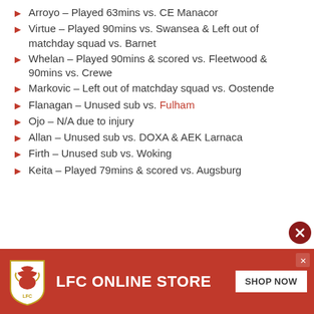Arroyo – Played 63mins vs. CE Manacor
Virtue – Played 90mins vs. Swansea & Left out of matchday squad vs. Barnet
Whelan – Played 90mins & scored vs. Fleetwood & 90mins vs. Crewe
Markovic – Left out of matchday squad vs. Oostende
Flanagan – Unused sub vs. Fulham
Ojo – N/A due to injury
Allan – Unused sub vs. DOXA & AEK Larnaca
Firth – Unused sub vs. Woking
Keita – Played 79mins & scored vs. Augsburg
[Figure (infographic): LFC Online Store advertisement banner with Liverpool FC crest logo, white text 'LFC ONLINE STORE' on red background, and a 'SHOP NOW' button.]